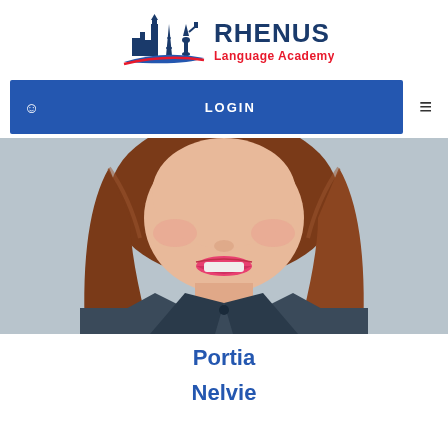[Figure (logo): Rhenus Language Academy logo with city skyline and Statue of Liberty silhouette, blue swoosh, red and blue text]
[Figure (screenshot): Blue LOGIN button with smiley icon on left, hamburger menu icon on right]
[Figure (photo): Portrait photo of a smiling woman with long auburn hair wearing a dark navy collared shirt, cropped to show face and upper torso]
Portia
Nelvie